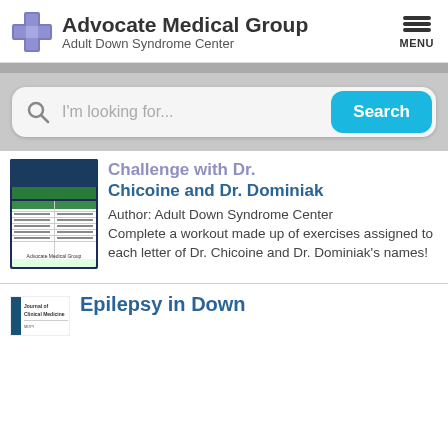Advocate Medical Group Adult Down Syndrome Center
[Figure (screenshot): Search bar with magnifying glass icon, placeholder text 'I'm looking for...', and cyan 'Search' button]
[Figure (illustration): Thumbnail image of a document titled 'Challenge with Dr. Chicoine and Dr. Dominiak' with a table listing exercises for each letter]
Challenge with Dr. Chicoine and Dr. Dominiak
Author: Adult Down Syndrome Center
Complete a workout made up of exercises assigned to each letter of Dr. Chicoine and Dr. Dominiak's names!
[Figure (logo): Journal of Clinical Medicine small logo/thumbnail]
Epilepsy in Down